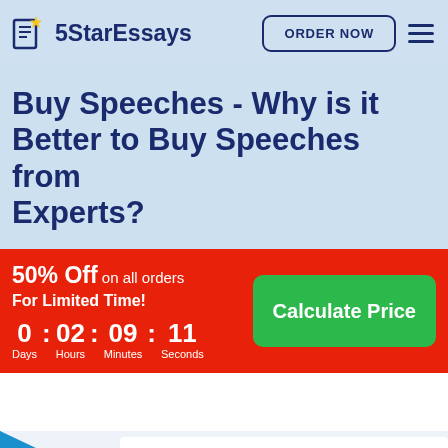5StarEssays | ORDER NOW
Buy Speeches - Why is it Better to Buy Speeches from Experts?
50% Off on all orders For Limited Time! 0 : 02 : 09 : 11 Days Hours Minutes Seconds
Calculate Price